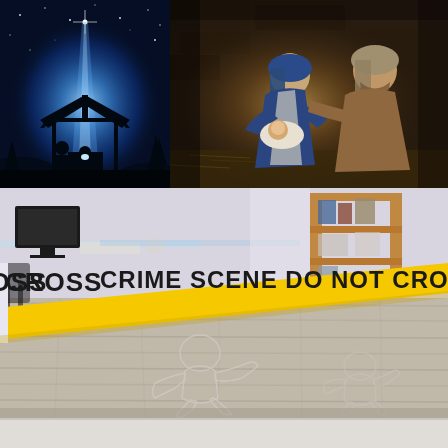[Figure (photo): Nativity scene silhouette with glowing blue light emanating from a manger structure under a starry night sky]
[Figure (photo): A woman and man dressed in biblical clothing looking at a newborn baby in a dark stone setting, reenacting the nativity scene]
[Figure (photo): A crime scene in an office with yellow tape reading CRIME SCENE DO NOT CROSS, body outline on hardwood floor, blurred office furniture and shelving in background]